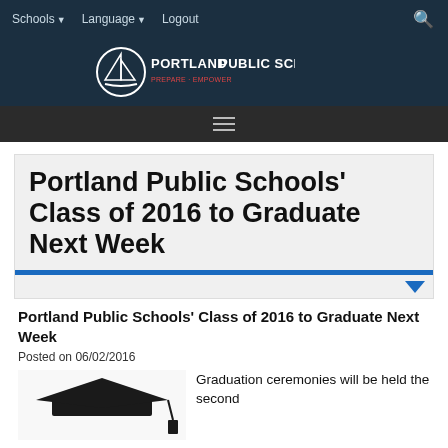Schools ▼   Language ▼   Logout
[Figure (logo): Portland Public Schools logo with sailboat emblem and text 'PORTLAND PUBLIC SCHOOLS']
Portland Public Schools' Class of 2016 to Graduate Next Week
Portland Public Schools' Class of 2016 to Graduate Next Week
Posted on 06/02/2016
Graduation ceremonies will be held the second